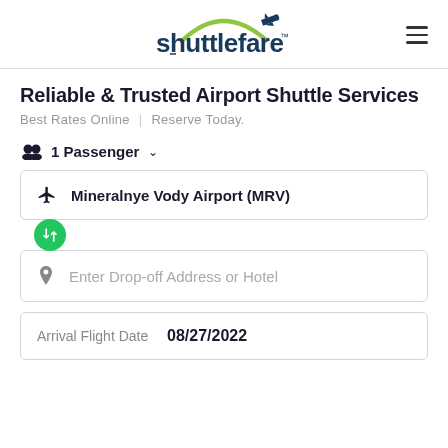[Figure (logo): Shuttlefare logo with airplane icon and green arc]
Reliable & Trusted Airport Shuttle Services
Best Rates Online | Reserve Today.
1 Passenger
Mineralnye Vody Airport (MRV)
Enter Drop-off Address or Hotel
Arrival Flight Date   08/27/2022